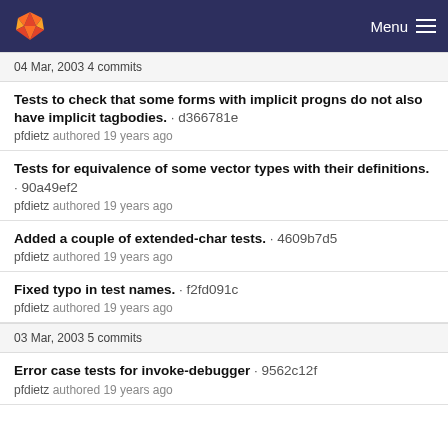Menu
04 Mar, 2003 4 commits
Tests to check that some forms with implicit progns do not also have implicit tagbodies. · d366781e
pfdietz authored 19 years ago
Tests for equivalence of some vector types with their definitions. · 90a49ef2
pfdietz authored 19 years ago
Added a couple of extended-char tests. · 4609b7d5
pfdietz authored 19 years ago
Fixed typo in test names. · f2fd091c
pfdietz authored 19 years ago
03 Mar, 2003 5 commits
Error case tests for invoke-debugger · 9562c12f
pfdietz authored 19 years ago